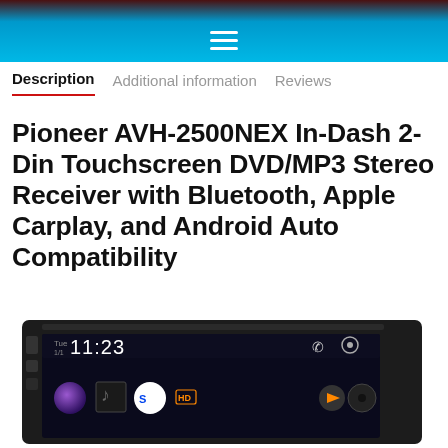Navigation header with hamburger menu icon
Description | Additional information | Reviews
Pioneer AVH-2500NEX In-Dash 2-Din Touchscreen DVD/MP3 Stereo Receiver with Bluetooth, Apple Carplay, and Android Auto Compatibility
[Figure (photo): Pioneer AVH-2500NEX car stereo head unit showing touchscreen display with time 11:23, Siri button, album art, and media controls]